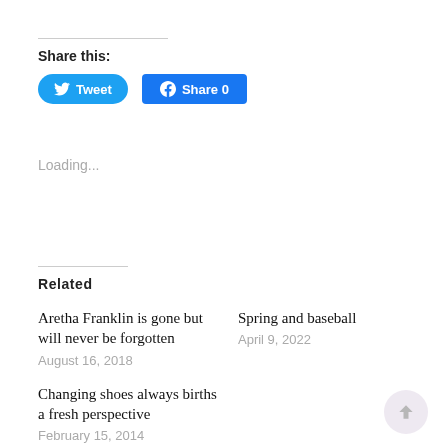Share this:
[Figure (other): Tweet button (Twitter/X blue rounded pill button) and Share 0 button (Facebook blue square button)]
Loading...
Related
Aretha Franklin is gone but will never be forgotten
August 16, 2018
Spring and baseball
April 9, 2022
Changing shoes always births a fresh perspective
February 15, 2014